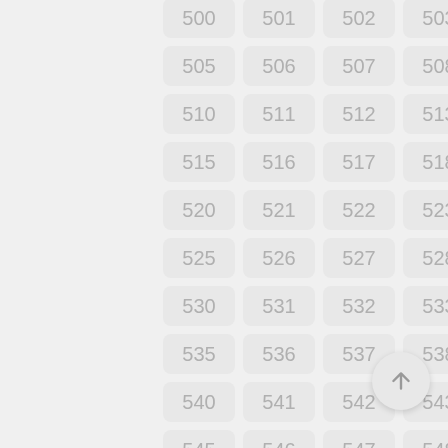[Figure (other): A numbered grid of cells from 500 to 554, arranged in 5 columns and 11 rows, with each number displayed in a rounded rectangle tile on a light gray background. A circular button with an upward arrow is positioned at the bottom right.]